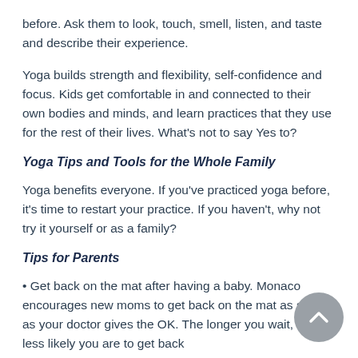before. Ask them to look, touch, smell, listen, and taste and describe their experience.
Yoga builds strength and flexibility, self-confidence and focus. Kids get comfortable in and connected to their own bodies and minds, and learn practices that they use for the rest of their lives. What's not to say Yes to?
Yoga Tips and Tools for the Whole Family
Yoga benefits everyone. If you’ve practiced yoga before, it’s time to restart your practice. If you haven’t, why not try it yourself or as a family?
Tips for Parents
• Get back on the mat after having a baby. Monaco encourages new moms to get back on the mat as soon as your doctor gives the OK. The longer you wait, the less likely you are to get back